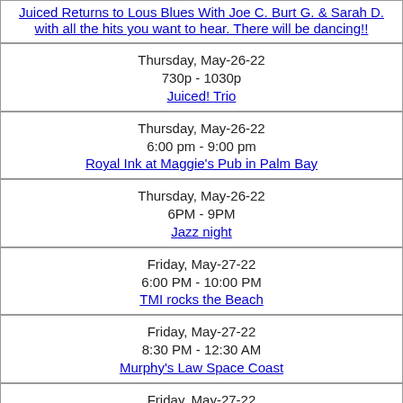Juiced Returns to Lous Blues With Joe C. Burt G. & Sarah D. with all the hits you want to hear. There will be dancing!!
Thursday, May-26-22
730p - 1030p
Juiced! Trio
Thursday, May-26-22
6:00 pm - 9:00 pm
Royal Ink at Maggie's Pub in Palm Bay
Thursday, May-26-22
6PM - 9PM
Jazz night
Friday, May-27-22
6:00 PM - 10:00 PM
TMI rocks the Beach
Friday, May-27-22
8:30 PM - 12:30 AM
Murphy's Law Space Coast
Friday, May-27-22
7:00pm - 10:00pm
Live Music